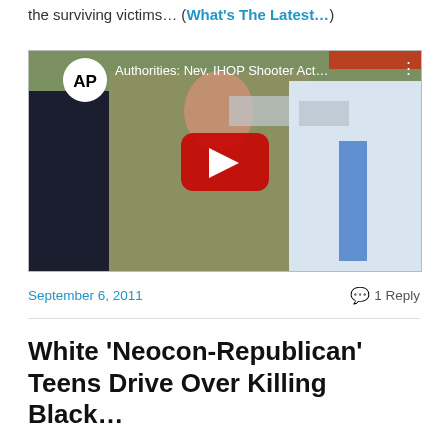the surviving victims… (What's The Latest…)
[Figure (screenshot): YouTube video embed showing AP news video titled 'Authorities: Nev. IHOP Shooter Act…' with AP logo, red play button, and officers/officials in background]
September 6, 2011   1 Reply
White 'Neocon-Republican' Teens Drive Over Killing Black…